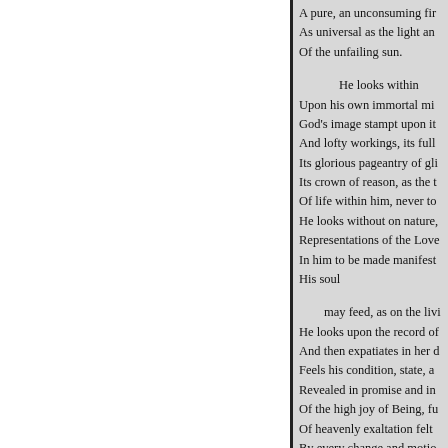A pure, an unconsuming fir
As universal as the light an
Of the unfailing sun.

He looks within
Upon his own immortal mi
God's image stampt upon it
And lofty workings, its full
Its glorious pageantry of gl
Its crown of reason, as the t
Of life within him, never to
He looks without on nature,
Representations of the Love
In him to be made manifest
His soul

may feed, as on the livi
He looks upon the record of
And then expatiates in her d
Feels his condition, state, a
Revealed in promise and in
Of the high joy of Being, fu
Of heavenly exaltation felt
By every change and motio